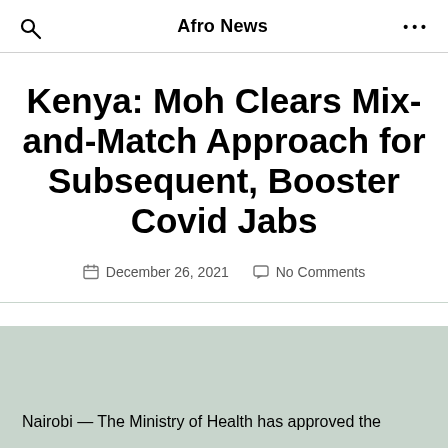Afro News
Kenya: Moh Clears Mix-and-Match Approach for Subsequent, Booster Covid Jabs
December 26, 2021   No Comments
Nairobi — The Ministry of Health has approved the